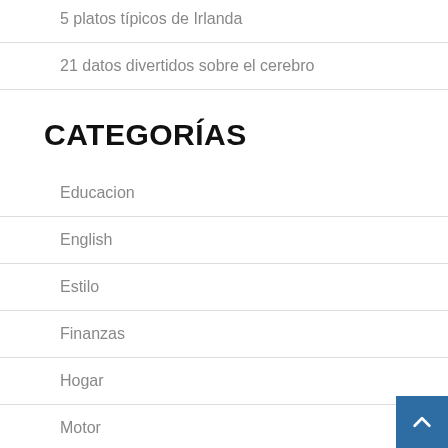5 platos típicos de Irlanda
21 datos divertidos sobre el cerebro
CATEGORÍAS
Educacion
English
Estilo
Finanzas
Hogar
Motor
Noticias